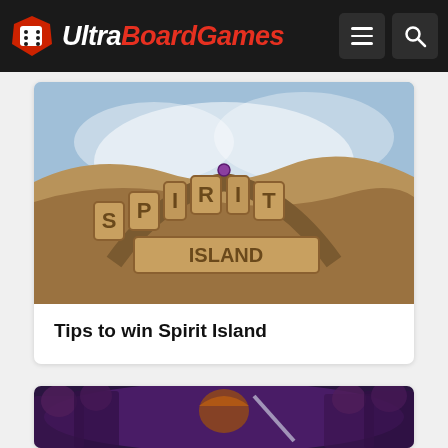UltraBoardGames
[Figure (illustration): Spirit Island board game logo art — stone carved letters reading SPIRIT ISLAND with fantasy island background art]
Tips to win Spirit Island
[Figure (illustration): Partially visible board game art showing dark fantasy characters with purple/dark tones — second article card image]